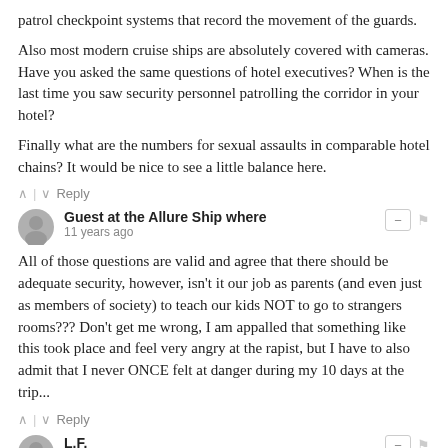patrol checkpoint systems that record the movement of the guards.
Also most modern cruise ships are absolutely covered with cameras. Have you asked the same questions of hotel executives? When is the last time you saw security personnel patrolling the corridor in your hotel?
Finally what are the numbers for sexual assaults in comparable hotel chains? It would be nice to see a little balance here.
^ | ∨  Reply
Guest at the Allure Ship where
11 years ago
All of those questions are valid and agree that there should be adequate security, however, isn't it our job as parents (and even just as members of society) to teach our kids NOT to go to strangers rooms??? Don't get me wrong, I am appalled that something like this took place and feel very angry at the rapist, but I have to also admit that I never ONCE felt at danger during my 10 days at the trip...
^ | ∨  Reply
L.F.
11 years ago